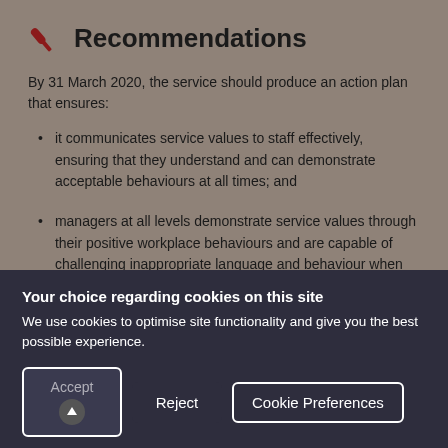Recommendations
By 31 March 2020, the service should produce an action plan that ensures:
it communicates service values to staff effectively, ensuring that they understand and can demonstrate acceptable behaviours at all times; and
managers at all levels demonstrate service values through their positive workplace behaviours and are capable of challenging inappropriate language and behaviour when identified.
Your choice regarding cookies on this site
We use cookies to optimise site functionality and give you the best possible experience.
Accept | Reject | Cookie Preferences